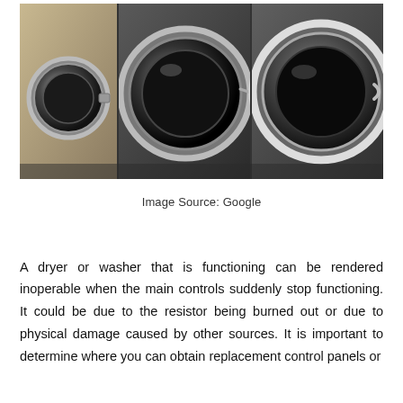[Figure (photo): Photo of three front-loading washing machines/dryers lined up side by side, showing their circular drum doors. Left machine is beige/tan colored, middle and right machines are dark gray/silver. The right machine's door appears open.]
Image Source: Google
A dryer or washer that is functioning can be rendered inoperable when the main controls suddenly stop functioning. It could be due to the resistor being burned out or due to physical damage caused by other sources. It is important to determine where you can obtain replacement control panels or